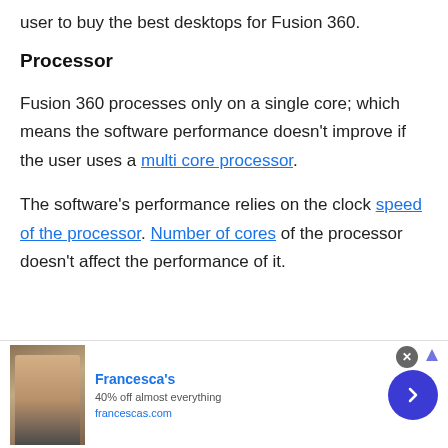user to buy the best desktops for Fusion 360.
Processor
Fusion 360 processes only on a single core; which means the software performance doesn't improve if the user uses a multi core processor.
The software's performance relies on the clock speed of the processor. Number of cores of the processor doesn't affect the performance of it.
[Figure (other): Advertisement banner for Francesca's: '40% off almost everything', francescas.com, with photo of woman and blue arrow button]